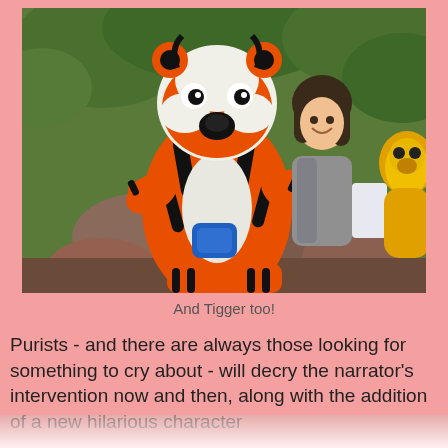[Figure (photo): A person posing with a Tigger mascot costume character outdoors, with green foliage in the background and stone/rock scenery. Another character costume (yellow) is visible on the right edge.]
And Tigger too!
Purists - and there are always those looking for something to cry about - will decry the narrator's intervention now and then, along with the addition of a new hilarious character